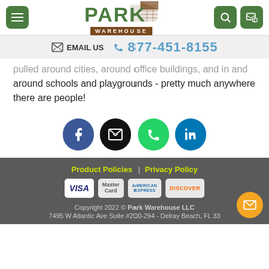Park Warehouse - Navigation header with menu, logo, search and cart icons
EMAIL US  877-451-8155
pulled around cities, around office buildings, and in and around schools and playgrounds - pretty much anywhere there are people!
[Figure (other): Social media icon buttons: Facebook (blue), Email (black), Phone/WhatsApp (green), LinkedIn (blue)]
Product Policies | Privacy Policy
VISA  MasterCard  American Express  Discover
Copyright 2022 © Park Warehouse LLC
7495 W Atlantic Ave Suite #200-294 - Delray Beach, FL 33